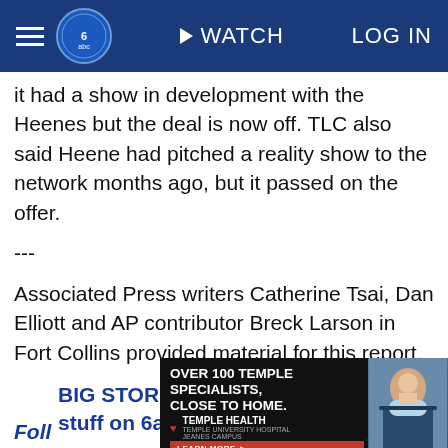WATCH | LOG IN
it had a show in development with the Heenes but the deal is now off. TLC also said Heene had pitched a reality show to the network months ago, but it passed on the offer.
---
Associated Press writers Catherine Tsai, Dan Elliott and AP contributor Breck Larson in Fort Collins provided material for this report.
BIG STORIES: Get the most popular stuff on 6abc.com
Follow Action News on Twitter
Get
[Figure (screenshot): Temple Health advertisement banner: OVER 100 TEMPLE SPECIALISTS, CLOSE TO HOME. TEMPLE HEALTH, TEMPLE UNIVERSITY HOSPITAL JEANES CAMPUS. LEARN MORE button. Doctor image on right.]
Foll